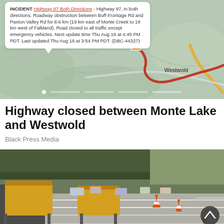[Figure (screenshot): Screenshot of a traffic/road incident map app showing Highway 97 closure with a callout box containing incident details about a road obstruction between Buff Frontage Rd and Paxton Valley Rd for 8.6 km. The map shows a red winding road line indicating closure, with a warning triangle icon. 'Westwold' place label visible on map. Navigation dots at bottom.]
Highway closed between Monte Lake and Westwold
Black Press Media
[Figure (photo): Photograph of yellow SPECS average speed camera enforcement equipment mounted on poles over a highway, with traffic and orange cones visible in background. Trees in background.]